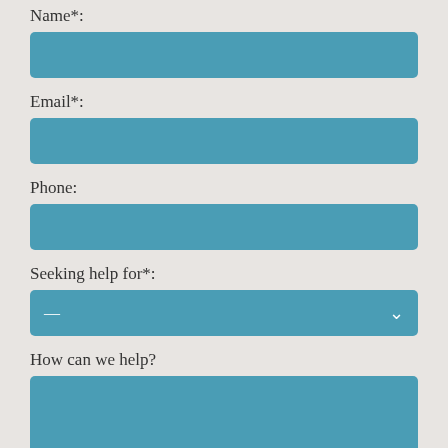Name*:
[Figure (other): Text input field for Name, styled as a teal/blue rounded rectangle]
Email*:
[Figure (other): Text input field for Email, styled as a teal/blue rounded rectangle]
Phone:
[Figure (other): Text input field for Phone, styled as a teal/blue rounded rectangle]
Seeking help for*:
[Figure (other): Dropdown select field with dash placeholder and chevron arrow, styled as teal/blue rounded rectangle]
How can we help?
[Figure (other): Large textarea input field, styled as a teal/blue rounded rectangle]